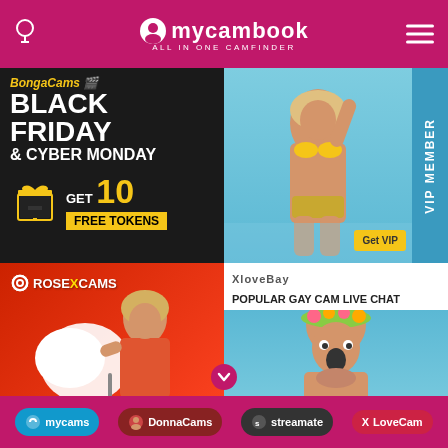mycambook ALL IN ONE CAMFINDER
[Figure (photo): BongaCams Black Friday & Cyber Monday ad: Get 10 Free Tokens, dark background with gift box]
[Figure (photo): VIP Member ad on Streamate: woman in yellow bikini on beach, blue background, Get VIP button]
[Figure (photo): RoseXCams ad: woman in red bikini holding cotton candy on red background]
[Figure (photo): XloveBay Popular Gay Cam Live Chat ad: man with flower crown, blue and white stripes]
mycams | DonnaCams | streamate | XLoveCam